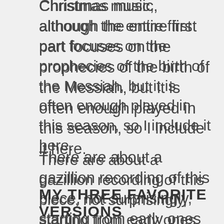Christmas music, although the entire first part focuses on the prophecies of the birth of the Messiah, but it is often enough played in this season, so I include it here.
There are about a gazillion recording of this piece, not surprisingly, starting from early ones like the famous Otto Klemperer version, to luckily (to my ears) many contemporary versions influenced by the Historically Informed Practice (HIP).
All the versions I recommend below are HIP, if you prefer big-scale, traditional playing, the Klemperer recording is not a bad place to start.
MY THREE FAVORITE VERSIONS